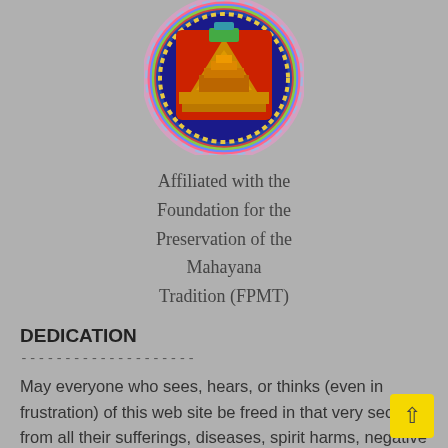[Figure (logo): Circular emblem/logo of a Buddhist institution with colorful imagery including a pyramid, decorative border with rainbow colors, and traditional Tibetan motifs]
Affiliated with the Foundation for the Preservation of the Mahayana Tradition (FPMT)
DEDICATION
--------------------
May everyone who sees, hears, or thinks (even in frustration) of this web site be freed in that very second from all their sufferings, diseases, spirit harms, negative karmas and obscurations, and abide in the peerless happiness of full